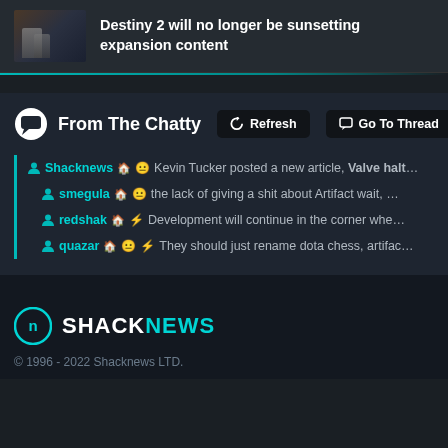Destiny 2 will no longer be sunsetting expansion content
From The Chatty
Shacknews ↑ 😐 Kevin Tucker posted a new article, Valve halt…
smegula ↑ 😐 the lack of giving a shit about Artifact wait, …
redshak ↑ ⚡ Development will continue in the corner whe…
quazar ↑ 😐 ⚡ They should just rename dota chess, artifac…
SHACKNEWS © 1996 - 2022 Shacknews LTD.